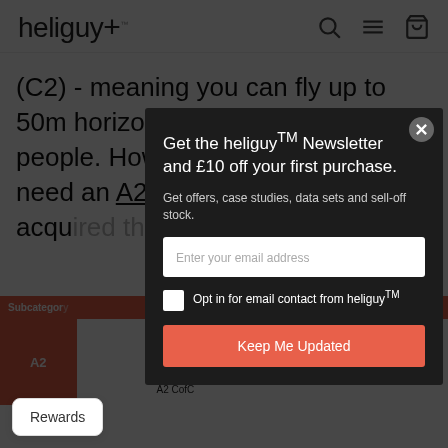heliguy+
(C2) - meaning you can fly up to 50m horizontally from uninvolved people. However, for this, you will need an A2 CofC, which can be acquired through heliguy™
| Subcategory | … | Competency |
| --- | --- | --- |
| A2 | … | Read user manual, e-training & test, A2 CofC |
[Figure (screenshot): Newsletter signup modal overlay on heliguy website. Dark modal with title 'Get the heliguy™ Newsletter and £10 off your first purchase.', subtitle 'Get offers, case studies, data sets and sell-off stock.', email input field, opt-in checkbox for heliguy™, and orange 'Keep Me Updated' button. Close button (X) in top-right corner.]
Rewards